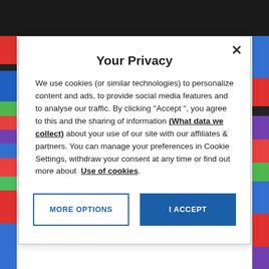Your Privacy
We use cookies (or similar technologies) to personalize content and ads, to provide social media features and to analyse our traffic. By clicking "Accept ", you agree to this and the sharing of information (What data we collect) about your use of our site with our affiliates & partners. You can manage your preferences in Cookie Settings, withdraw your consent at any time or find out more about Use of cookies.